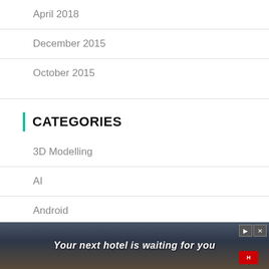April 2018
December 2015
October 2015
CATEGORIES
3D Modelling
AI
Android
AWS
Azure
Azure Kubernetes Service
[Figure (other): Advertisement banner: 'Your next hotel is waiting for you' with a scenic background image of a city/hotel, red border, navigation controls top right.]